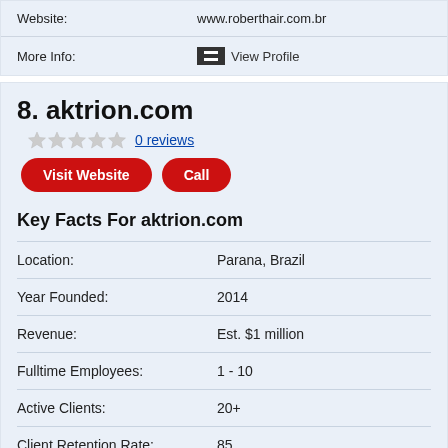| Field | Value |
| --- | --- |
| Website: | www.roberthair.com.br |
| More Info: | View Profile |
8. aktrion.com
0 reviews
Visit Website  Call
Key Facts For aktrion.com
| Field | Value |
| --- | --- |
| Location: | Parana, Brazil |
| Year Founded: | 2014 |
| Revenue: | Est. $1 million |
| Fulltime Employees: | 1 - 10 |
| Active Clients: | 20+ |
| Client Retention Rate: | 85 |
| Pricing: | M |